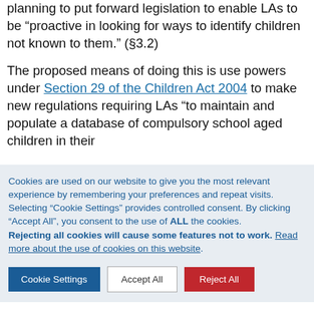planning to put forward legislation to enable LAs to be “proactive in looking for ways to identify children not known to them.” (§3.2)
The proposed means of doing this is use powers under Section 29 of the Children Act 2004 to make new regulations requiring LAs “to maintain and populate a database of compulsory school aged children in their
Cookies are used on our website to give you the most relevant experience by remembering your preferences and repeat visits.
Selecting "Cookie Settings" provides controlled consent. By clicking “Accept All”, you consent to the use of ALL the cookies.
Rejecting all cookies will cause some features not to work. Read more about the use of cookies on this website.